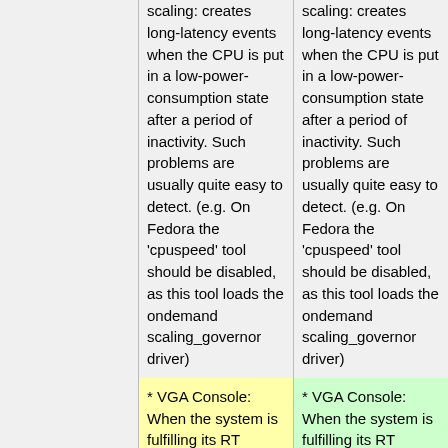scaling: creates long-latency events when the CPU is put in a low-power-consumption state after a period of inactivity. Such problems are usually quite easy to detect. (e.g. On Fedora the 'cpuspeed' tool should be disabled, as this tool loads the ondemand scaling_governor driver)
scaling: creates long-latency events when the CPU is put in a low-power-consumption state after a period of inactivity. Such problems are usually quite easy to detect. (e.g. On Fedora the 'cpuspeed' tool should be disabled, as this tool loads the ondemand scaling_governor driver)
* VGA Console: When the system is fulfilling its RT requirements the VGA Text Console must be left untouched. Nothing may be written to that console, also printk's are not allowed. This VGA text console causes very large
* VGA Console: When the system is fulfilling its RT requirements the VGA Text Console must be left untouched. Nothing is allowed to be written to that console, even printk's are not allowed. This VGA text console